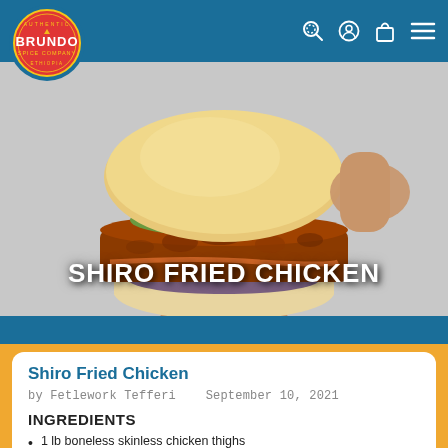[Figure (logo): Brundo Spice Company circular logo with red background and gold border text]
[Figure (photo): Hero photo of a fried chicken sandwich being held, with avocado and toppings visible]
SHIRO FRIED CHICKEN
Shiro Fried Chicken
by Fetlework Tefferi   September 10, 2021
INGREDIENTS
1 lb boneless skinless chicken thighs